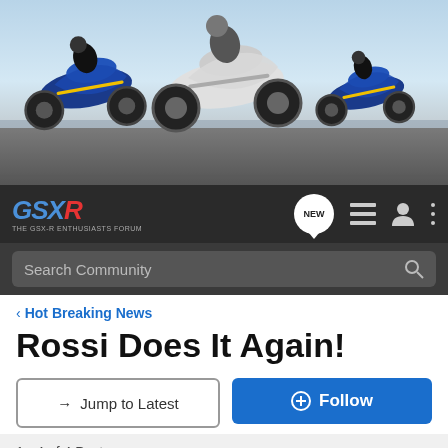[Figure (photo): GSX-R motorcycle forum banner showing three sport motorcycles racing on a track]
[Figure (logo): GSX-R forum navigation bar with logo, NEW badge, list icon, user icon, and menu icon]
[Figure (screenshot): Search Community bar]
< Hot Breaking News
Rossi Does It Again!
→ Jump to Latest
+ Follow
1 - 4 of 4 Posts
solitario11 · Registered
Joined Aug 8, 2005 · 37 Posts